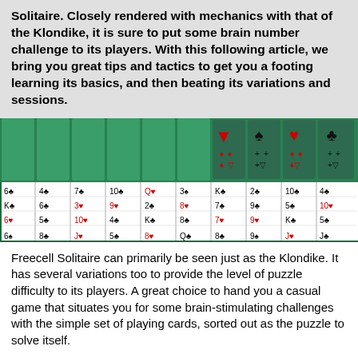Solitaire. Closely rendered with mechanics with that of the Klondike, it is sure to put some brain number challenge to its players. With this following article, we bring you great tips and tactics to get you a footing learning its basics, and then beating its variations and sessions.
[Figure (screenshot): Screenshot of a Freecell Solitaire game showing playing cards arranged in columns on a green background with card suit symbols visible at the top.]
Freecell Solitaire can primarily be seen just as the Klondike. It has several variations too to provide the level of puzzle difficulty to its players. A great choice to hand you a casual game that situates you for some brain-stimulating challenges with the simple set of playing cards, sorted out as the puzzle to solve itself.
As we have reviewed quite a number of solitaire game titles in the past, we have encountered those listing freecell among its playable variants of solitaire. Freecell is an "open" type of solitaire – which means all the cards dealt